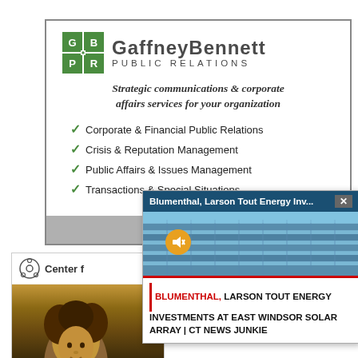[Figure (other): GaffneyBennett Public Relations advertisement with logo, tagline, service checklist, and website footer]
[Figure (screenshot): Browser popup overlay showing 'Blumenthal, Larson Tout Energy Inv...' with solar panel image and news headline: BLUMENTHAL, LARSON TOUT ENERGY INVESTMENTS AT EAST WINDSOR SOLAR ARRAY | CT NEWS JUNKIE]
[Figure (other): Partial advertisement for 'Center f...' with a child photo partially visible at bottom left]